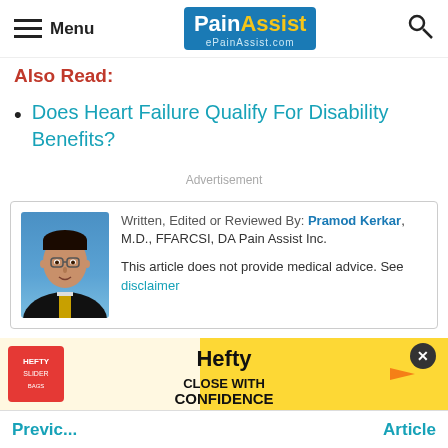Menu | PainAssist ePainAssist.com
Also Read:
Does Heart Failure Qualify For Disability Benefits?
Advertisement
Written, Edited or Reviewed By: Pramod Kerkar, M.D., FFARCSI, DA Pain Assist Inc.

This article does not provide medical advice. See disclaimer
Last Modified On: April 4, 2018
Previous Article ... Next Article